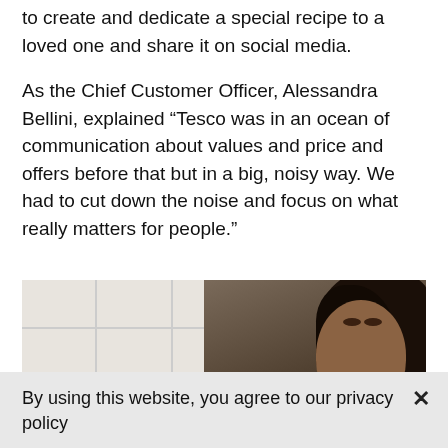to create and dedicate a special recipe to a loved one and share it on social media.
As the Chief Customer Officer, Alessandra Bellini, explained “Tesco was in an ocean of communication about values and price and offers before that but in a big, noisy way. We had to cut down the noise and focus on what really matters for people.”
[Figure (photo): A woman with curly dark hair in a kitchen setting with white tiles in the background, looking at the camera.]
By using this website, you agree to our privacy policy